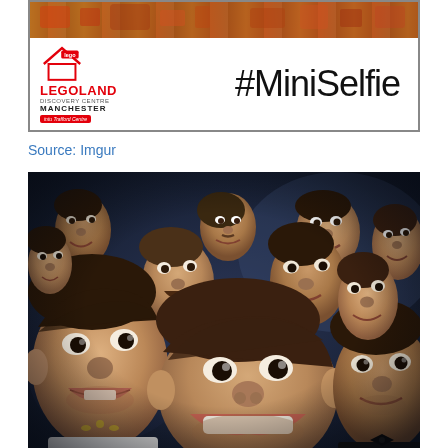[Figure (photo): Legoland Discovery Centre Manchester advertisement with #MiniSelfie hashtag, showing the Legoland logo with a house icon and Lego brick logo, set against a background image of Lego figures at top.]
Source: Imgur
[Figure (photo): Internet meme collage showing multiple faces of actor Nicolas Cage photoshopped onto the famous Oscar selfie group photo, replacing all the celebrities with various photos of Nicolas Cage's face.]